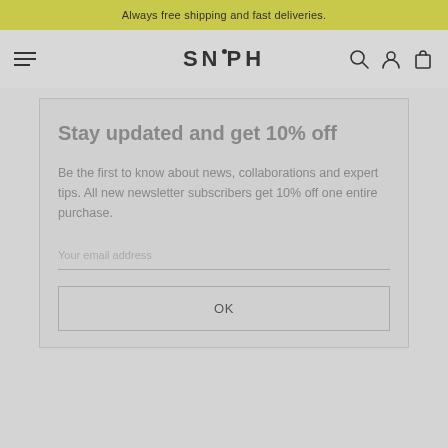Always free shipping and fast deliveries.
[Figure (logo): SNiPH logo with hamburger menu icon on left and search, account, cart icons on right]
Stay updated and get 10% off
Be the first to know about news, collaborations and expert tips. All new newsletter subscribers get 10% off one entire purchase.
Your email address
OK